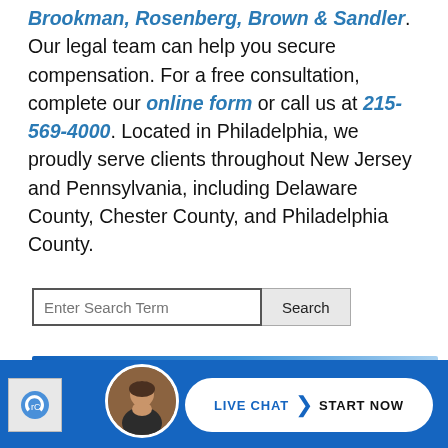Brookman, Rosenberg, Brown & Sandler. Our legal team can help you secure compensation. For a free consultation, complete our online form or call us at 215-569-4000. Located in Philadelphia, we proudly serve clients throughout New Jersey and Pennsylvania, including Delaware County, Chester County, and Philadelphia County.
[Figure (screenshot): Search bar with placeholder text 'Enter Search Term' and a 'Search' button]
Recent Posts
What Is Pleural Mesothelioma?
What Is Crocidolite Asbestos?
Department of Justice Sides With Mesothelioma Victims After Johnson & Johnson Bankruptcy Ruling
EPA Proposes Stricter Asbestos Reporting Requirements
Are More Women Getting Mesothelioma?
[Figure (infographic): Blue bottom bar with avatar photo of man and a white pill-shaped 'LIVE CHAT | START NOW' button]